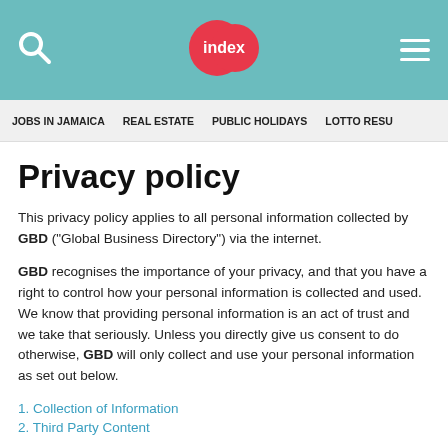index — JOBS IN JAMAICA  REAL ESTATE  PUBLIC HOLIDAYS  LOTTO RESU…
Privacy policy
This privacy policy applies to all personal information collected by GBD ("Global Business Directory") via the internet.
GBD recognises the importance of your privacy, and that you have a right to control how your personal information is collected and used. We know that providing personal information is an act of trust and we take that seriously. Unless you directly give us consent to do otherwise, GBD will only collect and use your personal information as set out below.
1. Collection of Information
2. Third Party Content